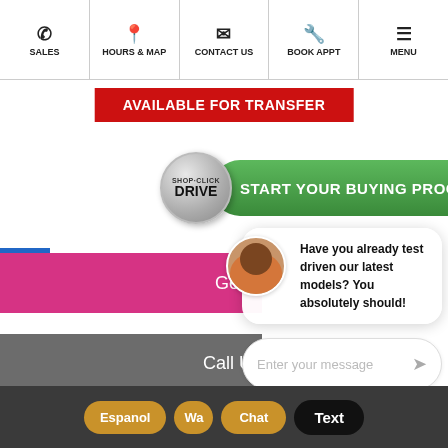[Figure (screenshot): Navigation bar with icons for SALES, HOURS & MAP, CONTACT US, BOOK APPT, MENU]
AVAILABLE FOR TRANSFER
[Figure (screenshot): Shop-Click Drive green button: START YOUR BUYING PROCESS]
[Figure (screenshot): Chat popup with avatar: Have you already test driven our latest models? You absolutely should!]
Get
Call U
Enter your message
VALUE YOUR TRADE
Espanol
Wa
Chat
Text